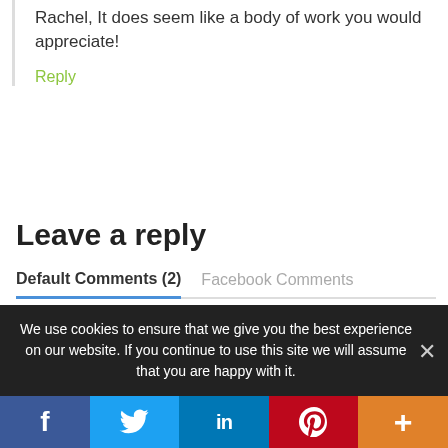Rachel, It does seem like a body of work you would appreciate!
Reply
Leave a reply
Default Comments (2)   Facebook Comments
We use cookies to ensure that we give you the best experience on our website. If you continue to use this site we will assume that you are happy with it.